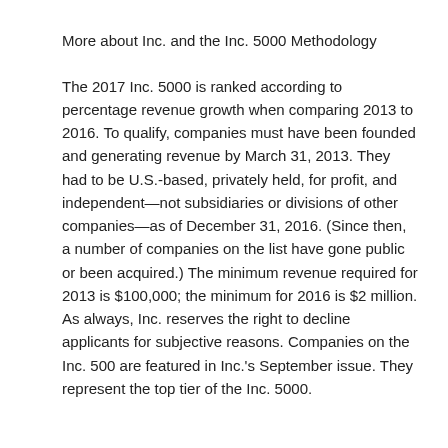More about Inc. and the Inc. 5000
Methodology
The 2017 Inc. 5000 is ranked according to percentage revenue growth when comparing 2013 to 2016. To qualify, companies must have been founded and generating revenue by March 31, 2013. They had to be U.S.-based, privately held, for profit, and independent—not subsidiaries or divisions of other companies—as of December 31, 2016. (Since then, a number of companies on the list have gone public or been acquired.) The minimum revenue required for 2013 is $100,000; the minimum for 2016 is $2 million. As always, Inc. reserves the right to decline applicants for subjective reasons. Companies on the Inc. 500 are featured in Inc.'s September issue. They represent the top tier of the Inc. 5000.